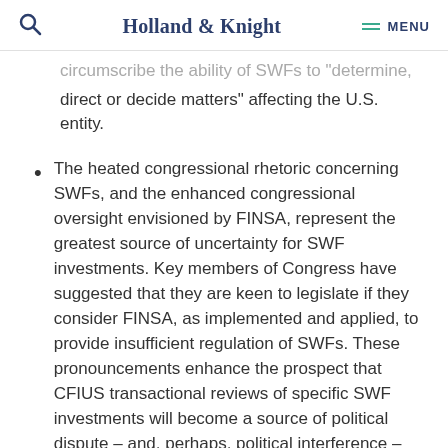Holland & Knight  MENU
circumscribe the ability of SWFs to "determine, direct or decide matters" affecting the U.S. entity.
The heated congressional rhetoric concerning SWFs, and the enhanced congressional oversight envisioned by FINSA, represent the greatest source of uncertainty for SWF investments. Key members of Congress have suggested that they are keen to legislate if they consider FINSA, as implemented and applied, to provide insufficient regulation of SWFs. These pronouncements enhance the prospect that CFIUS transactional reviews of specific SWF investments will become a source of political dispute – and, perhaps, political interference – once reported to Congress as required by